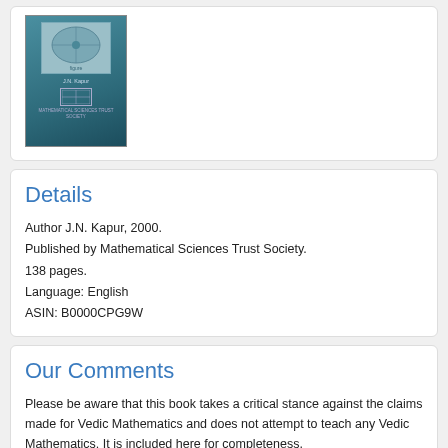[Figure (photo): Book cover image showing a teal/blue colored book by J.N. Kapur, published by Mathematical Sciences Trust Society]
Details
Author J.N. Kapur, 2000.
Published by Mathematical Sciences Trust Society.
138 pages.
Language: English
ASIN: B0000CPG9W
Our Comments
Please be aware that this book takes a critical stance against the claims made for Vedic Mathematics and does not attempt to teach any Vedic Mathematics. It is included here for completeness.
The Vedic Math Workbook - I: Speed multiplication of single digit, double digit and triple digit numbers: Volume 1